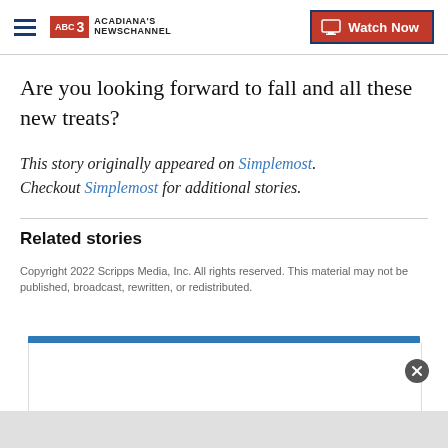Acadiana's Newschannel — Watch Now
Are you looking forward to fall and all these new treats?
This story originally appeared on Simplemost. Checkout Simplemost for additional stories.
Related stories
Copyright 2022 Scripps Media, Inc. All rights reserved. This material may not be published, broadcast, rewritten, or redistributed.